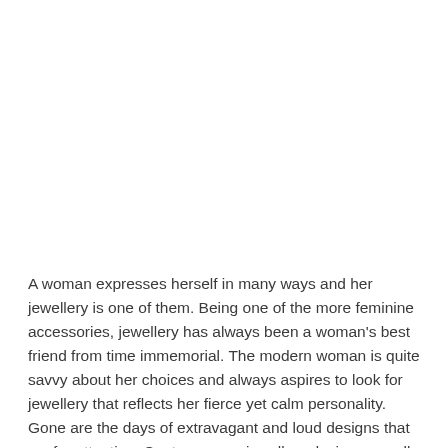A woman expresses herself in many ways and her jewellery is one of them. Being one of the more feminine accessories, jewellery has always been a woman's best friend from time immemorial. The modern woman is quite savvy about her choices and always aspires to look for jewellery that reflects her fierce yet calm personality. Gone are the days of extravagant and loud designs that cry for attention. Contemporary jewellery designs are all about making a grand statement in the subtlest of the ways